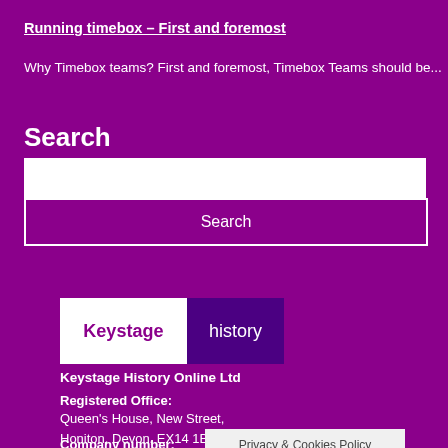Running timebox – First and foremost
Why Timebox teams? First and foremost, Timebox Teams should be...
Search
[Figure (screenshot): Search input box (white rectangle)]
Search
[Figure (logo): Keystage history logo — white left panel with 'Keystage' in purple, dark purple right panel with 'history' in white]
Keystage History Online Ltd
Registered Office:
Queen's House, New Street,
Honiton, Devon, EX14 1BJ
Company number:
Privacy & Cookies Policy